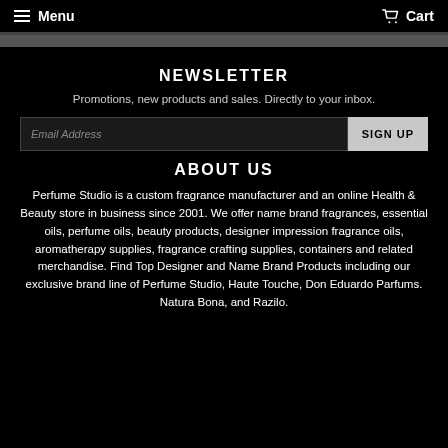Menu   Cart
NEWSLETTER
Promotions, new products and sales. Directly to your inbox.
Email Address   SIGN UP
ABOUT US
Perfume Studio is a custom fragrance manufacturer and an online Health & Beauty store in business since 2001. We offer name brand fragrances, essential oils, perfume oils, beauty products, designer impression fragrance oils, aromatherapy supplies, fragrance crafting supplies, containers and related merchandise. Find Top Designer and Name Brand Products including our exclusive brand line of Perfume Studio, Haute Touche, Don Eduardo Parfums. Natura Bona, and Razilo.